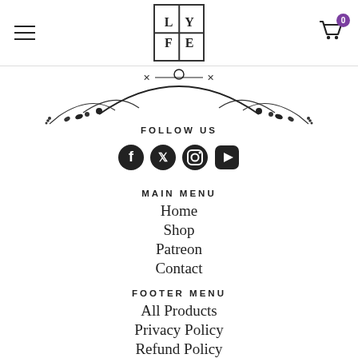LYFE logo with hamburger menu and cart icon showing 0
[Figure (illustration): Decorative floral/botanical ornamental divider with curved arch, leaves, and lavender sprigs]
FOLLOW US
[Figure (infographic): Social media icons: Facebook, Twitter, Instagram, YouTube]
MAIN MENU
Home
Shop
Patreon
Contact
FOOTER MENU
All Products
Privacy Policy
Refund Policy